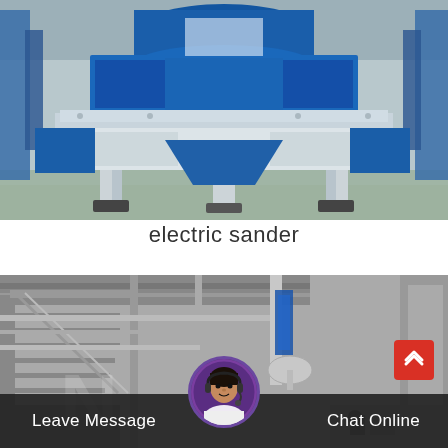[Figure (photo): Large blue industrial electric sander / vibrating screen machine in a factory, mounted on white metal legs, photographed from the front in a facility with green floor.]
electric sander
[Figure (photo): Black and white industrial factory interior with metal staircases, pipes, columns, and industrial equipment. Overlaid with a customer support avatar and UI elements.]